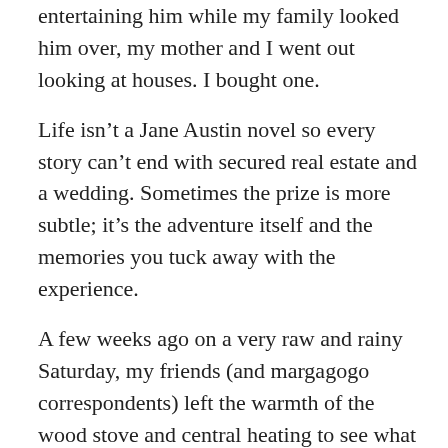entertaining him while my family looked him over, my mother and I went out looking at houses. I bought one.
Life isn't a Jane Austin novel so every story can't end with secured real estate and a wedding. Sometimes the prize is more subtle; it's the adventure itself and the memories you tuck away with the experience.
A few weeks ago on a very raw and rainy Saturday, my friends (and margagogo correspondents) left the warmth of the wood stove and central heating to see what we could see. We braved the drippy sky and dropping temperatures and were rewarded with ocean views. That tends to happen when you're on the coast but the view wasn't just “ocean” – it was awesome, rocky cliff, churning ocean! And we found color. Bright red and green popping up to give the finger to the oppressive grey sky.